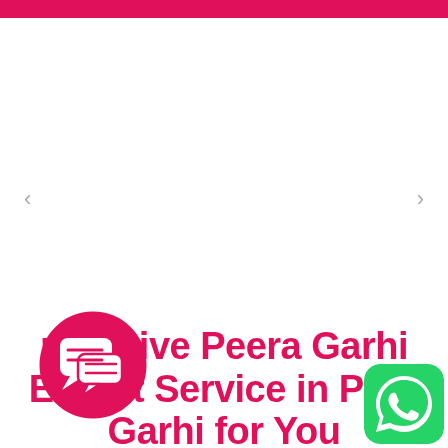[Figure (screenshot): Pink/magenta top navigation bar at the top of a webpage]
[Figure (screenshot): Carousel image area with left and right navigation arrows on a white background]
[Figure (illustration): Pink circular chat/message icon with speech bubble symbols]
Impressive Peera Garhi Escort Service in Peera Garhi for You
[Figure (illustration): WhatsApp green icon in bottom right corner]